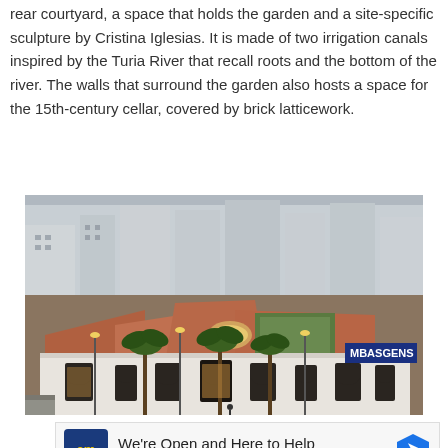rear courtyard, a space that holds the garden and a site-specific sculpture by Cristina Iglesias. It is made of two irrigation canals inspired by the Turia River that recall roots and the bottom of the river. The walls that surround the garden also hosts a space for the 15th-century cellar, covered by brick latticework.
[Figure (photo): Aerial view of a historic building complex with terracotta tile roofs, palm trees in front, white facade with decorative elements, surrounded by urban streets and modern apartment buildings in the background. A sign reading 'MBASGENS' is visible on the right side of the building.]
[Figure (infographic): Advertisement banner: CarMax logo (blue square with yellow 'cm' text), text 'We're Open and Here to Help', 'CarMax' in blue, blue hexagonal arrow icon on right, and a play/ad disclosure triangle icon at bottom left.]